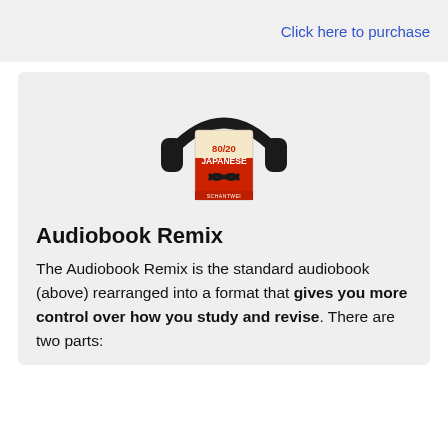Click here to purchase
[Figure (illustration): Audiobook cover showing headphones over a red book with '80/20 JAPANESE' written on it and a shuffle/remix symbol]
Audiobook Remix
The Audiobook Remix is the standard audiobook (above) rearranged into a format that gives you more control over how you study and revise. There are two parts: